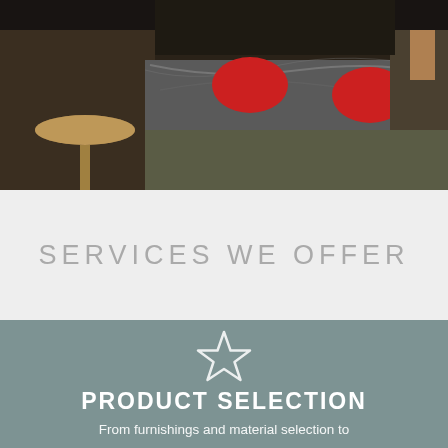[Figure (photo): Interior kitchen scene showing a granite-topped island with red placemats, wooden cabinetry, and light hardwood flooring]
SERVICES WE OFFER
PRODUCT SELECTION
From furnishings and material selection to interior architectural planning, we imbue each